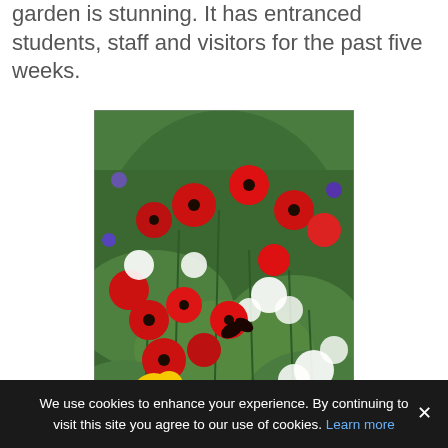garden is stunning. It has entranced students, staff and visitors for the past five weeks.
[Figure (photo): A colourful wildflower garden in full bloom featuring red poppies, yellow daisies, white flowers, and lush green foliage.]
We use cookies to enhance your experience. By continuing to visit this site you agree to our use of cookies. Learn more ✕